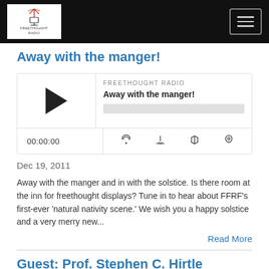Freethought Radio - navigation header with logo and menu button
Away with the manger!
[Figure (other): Audio player widget for 'Away with the manger!' podcast episode on Freethought Radio, showing play button, progress bar, time 00:00:00, and control icons]
Dec 19, 2011
Away with the manger and in with the solstice. Is there room at the inn for freethought displays? Tune in to hear about FFRF's first-ever 'natural nativity scene.' We wish you a happy solstice and a very merry new...
Read More
Guest: Prof. Stephen C. Hirtle